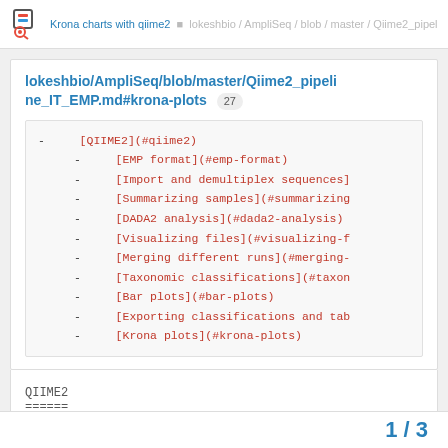Krona charts with qiime2
lokeshbio/AmpliSeq/blob/master/Qiime2_pipeline_IT_EMP.md#krona-plots 27
- [QIIME2](#qiime2)
- [EMP format](#emp-format)
- [Import and demultiplex sequences]
- [Summarizing samples](#summarizing
- [DADA2 analysis](#dada2-analysis)
- [Visualizing files](#visualizing-f
- [Merging different runs](#merging-
- [Taxonomic classifications](#taxon
- [Bar plots](#bar-plots)
- [Exporting classifications and tab
- [Krona plots](#krona-plots)
QIIME2
======
1 / 3